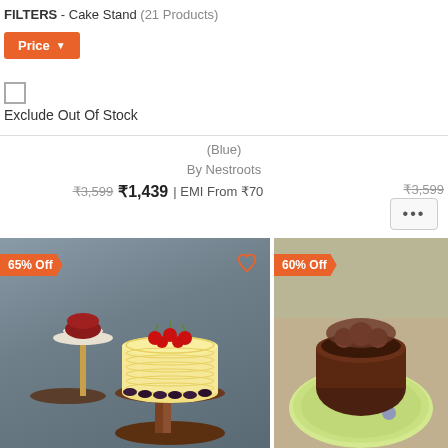FILTERS - Cake Stand (21 Products)
Price ▼
Exclude Out Of Stock
(Blue)
By Nestroots
₹3,599 ₹1,439 | EMI From ₹70   ₹3,599
[Figure (photo): Cake stand product photo showing a multi-tier cake stand with a cake decorated with red cherries, set against a grey background. Left side shows tiered stand, center shows decorated cake on wooden stand. 65% Off badge, heart icon.]
[Figure (photo): Cake stand product photo showing a colorful plate with a chocolate cake slice. 60% Off badge.]